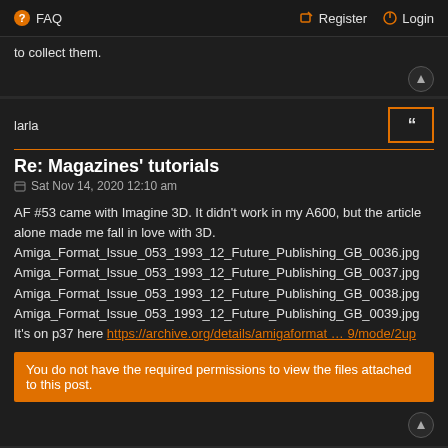FAQ  Register  Login
to collect them.
larla
Re: Magazines' tutorials
Sat Nov 14, 2020 12:10 am
AF #53 came with Imagine 3D. It didn't work in my A600, but the article alone made me fall in love with 3D.
Amiga_Format_Issue_053_1993_12_Future_Publishing_GB_0036.jpg
Amiga_Format_Issue_053_1993_12_Future_Publishing_GB_0037.jpg
Amiga_Format_Issue_053_1993_12_Future_Publishing_GB_0038.jpg
Amiga_Format_Issue_053_1993_12_Future_Publishing_GB_0039.jpg
It's on p37 here https://archive.org/details/amigaformat … 9/mode/2up
You do not have the required permissions to view the files attached to this post.
miredB
Site Admin